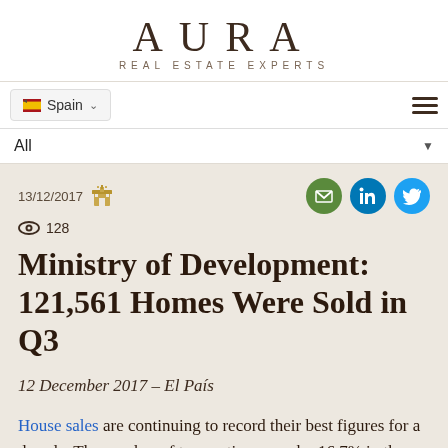AURA
REAL ESTATE EXPERTS
Spain ▾
All ▾
13/12/2017   👁 128
Ministry of Development: 121,561 Homes Were Sold in Q3
12 December 2017 – El País
House sales are continuing to record their best figures for a decade. The number of transactions rose by 16.7% in the third quarter to reach